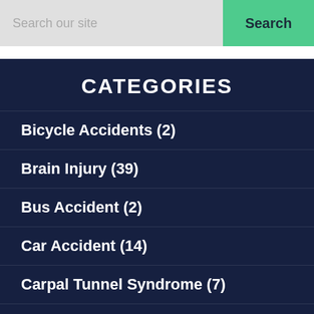Search our site
Search
CATEGORIES
Bicycle Accidents (2)
Brain Injury (39)
Bus Accident (2)
Car Accident (14)
Carpal Tunnel Syndrome (7)
Construction Accident (12)